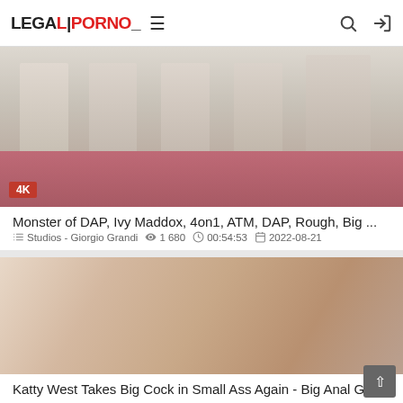LegalPorno
[Figure (screenshot): Video thumbnail showing adult content with 4K badge]
Monster of DAP, Ivy Maddox, 4on1, ATM, DAP, Rough, Big ...
Studios - Giorgio Grandi  1 680  00:54:53  2022-08-21
[Figure (screenshot): Video thumbnail showing adult content]
Katty West Takes Big Cock in Small Ass Again - Big Anal Gap